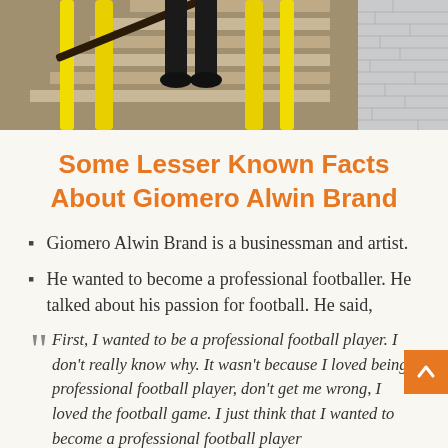[Figure (photo): Photo of a person standing on outdoor stairs with yellow railings; partial view shows legs and feet in black shoes. Right side shows a brick wall detail.]
Some Lesser Known Facts About Giomero Alwin Brand
Giomero Alwin Brand is a businessman and artist.
He wanted to become a professional footballer. He talked about his passion for football. He said,
First, I wanted to be a professional football player. I don't really know why. It wasn't because I loved being a professional football player, don't get me wrong, I loved the football game. I just think that I wanted to become a professional football player...